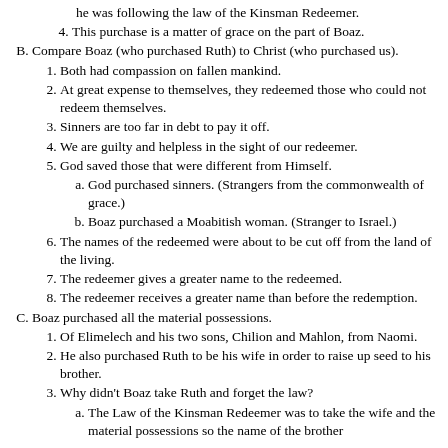he was following the law of the Kinsman Redeemer.
4. This purchase is a matter of grace on the part of Boaz.
B. Compare Boaz (who purchased Ruth) to Christ (who purchased us).
1. Both had compassion on fallen mankind.
2. At great expense to themselves, they redeemed those who could not redeem themselves.
3. Sinners are too far in debt to pay it off.
4. We are guilty and helpless in the sight of our redeemer.
5. God saved those that were different from Himself.
a. God purchased sinners. (Strangers from the commonwealth of grace.)
b. Boaz purchased a Moabitish woman. (Stranger to Israel.)
6. The names of the redeemed were about to be cut off from the land of the living.
7. The redeemer gives a greater name to the redeemed.
8. The redeemer receives a greater name than before the redemption.
C. Boaz purchased all the material possessions.
1. Of Elimelech and his two sons, Chilion and Mahlon, from Naomi.
2. He also purchased Ruth to be his wife in order to raise up seed to his brother.
3. Why didn't Boaz take Ruth and forget the law?
a. The Law of the Kinsman Redeemer was to take the wife and the material possessions so the name of the brother